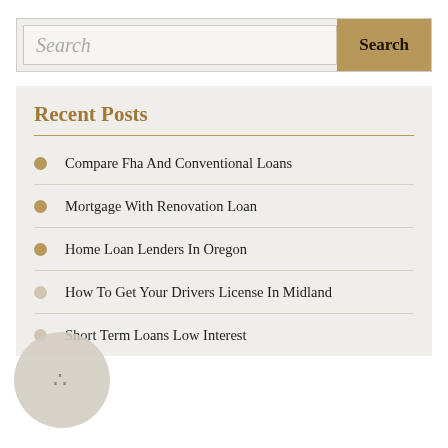Search
Recent Posts
Compare Fha And Conventional Loans
Mortgage With Renovation Loan
Home Loan Lenders In Oregon
How To Get Your Drivers License In Midland
Short Term Loans Low Interest